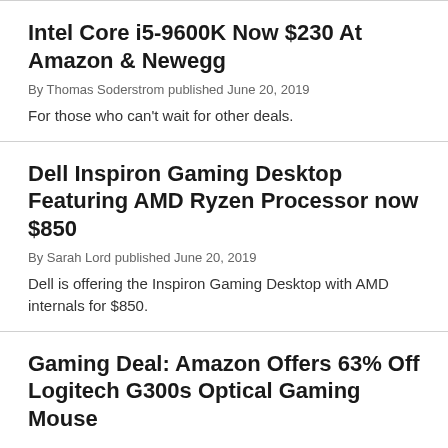Intel Core i5-9600K Now $230 At Amazon & Newegg
By Thomas Soderstrom published June 20, 2019
For those who can't wait for other deals.
Dell Inspiron Gaming Desktop Featuring AMD Ryzen Processor now $850
By Sarah Lord published June 20, 2019
Dell is offering the Inspiron Gaming Desktop with AMD internals for $850.
Gaming Deal: Amazon Offers 63% Off Logitech G300s Optical Gaming Mouse